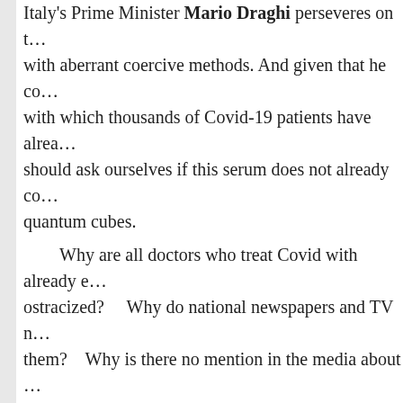Italy's Prime Minister Mario Draghi perseveres on t… with aberrant coercive methods. And given that he co… with which thousands of Covid-19 patients have alrea… should ask ourselves if this serum does not already co… quantum cubes.

Why are all doctors who treat Covid with already e… ostracized?     Why do national newspapers and TV n… them?     Why is there no mention in the media about … destroyed because of the vaccine?     Why isn't it adm… deaths around the world are caused by vaccines?     W… the demonstrations in many cities of the planet agains… Covid Pass?

(Note: Nobile rhetorically then asks the Italian auti… harsh lockdown policies)     Are you sure the problem … plan to implement a program that will make humans i…

Where are the police, the magistrates, the honest jo… Why have you never tried to see what anyone can fin… and mainstream newspapers are not Delphic oracles, t… who spread the lies against Saddam Hussein accusin…